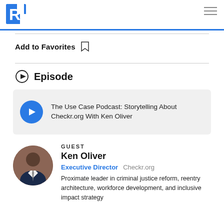R logo and navigation menu
Add to Favorites
Episode
The Use Case Podcast: Storytelling About Checkr.org With Ken Oliver
GUEST
Ken Oliver
Executive Director   Checkr.org
Proximate leader in criminal justice reform, reentry architecture, workforce development, and inclusive impact strategy